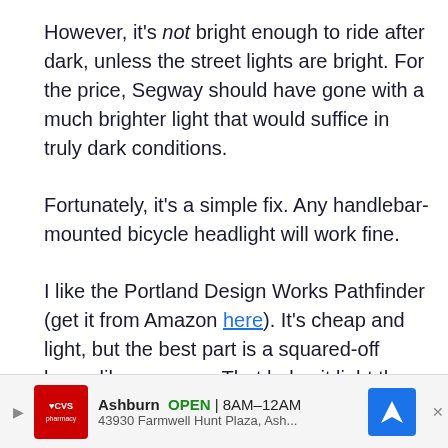However, it's not bright enough to ride after dark, unless the street lights are bright. For the price, Segway should have gone with a much brighter light that would suffice in truly dark conditions.
Fortunately, it's a simple fix. Any handlebar-mounted bicycle headlight will work fine.
I like the Portland Design Works Pathfinder (get it from Amazon here). It's cheap and light, but the best part is a squared-off beam like cars use. That helps it light the ground more evenly and minimizes glare toward oncoming people. The Pathfinder isn't the brightest, but it works for me up
[Figure (other): CVS Pharmacy advertisement banner showing store location in Ashburn, OPEN 8AM-12AM, address 43930 Farmwell Hunt Plaza, Ash..., with navigation arrow icon]